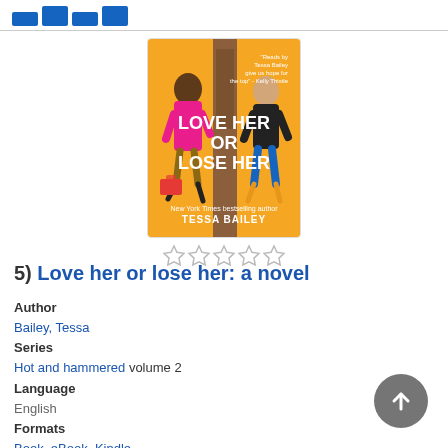[Figure (logo): Library catalog logo with colored blocks]
[Figure (illustration): Book cover of 'Love her or lose her: a novel' by Tessa Bailey. Orange/yellow background with two illustrated figures and door.]
[Figure (other): Five empty star rating icons]
5)  Love her or lose her: a novel
Author
Bailey, Tessa
Series
Hot and hammered volume 2
Language
English
Formats
Book, eBook, Kindle
Description
Read Description